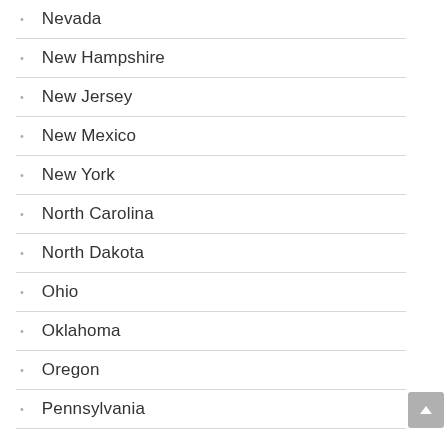Nevada
New Hampshire
New Jersey
New Mexico
New York
North Carolina
North Dakota
Ohio
Oklahoma
Oregon
Pennsylvania